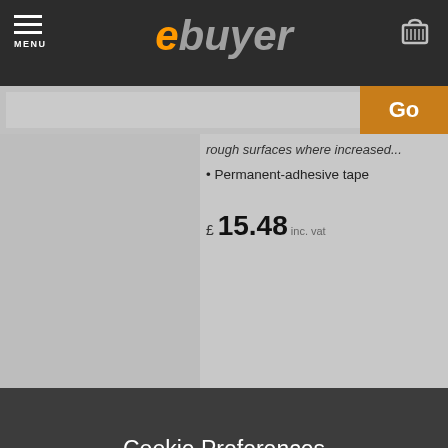ebuyer — MENU navigation header with cart icon
tough surfaces where increased...
Permanent-adhesive tape
£ 15.48 inc. vat
Cookie Preferences
We use different types of cookies to optimise your experience on our website. Click the cookie settings button to learn more about their purpose. You may choose which types of cookies to allow and can change your preferences at any time. Remember that disabling cookies may affect your experience on the website. You can learn about how we use cookies by viewing our Cookie Policy.
Amend Your Preference
Accept All Cookies